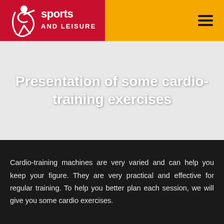[Figure (logo): Sports and Leisure logo — white figure icon with crescent shape on red background, bold white text 'sports AND LEISURE']
Presentation of some cardio-training exercises
Cardio-training machines are very varied and can help you keep your figure. They are very practical and effective for regular training. To help you better plan each session, we will give you some cardio exercises.